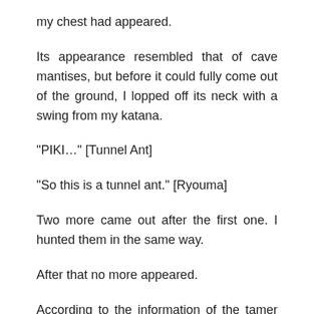my chest had appeared.
Its appearance resembled that of cave mantises, but before it could fully come out of the ground, I lopped off its neck with a swing from my katana.
“PIKI…” [Tunnel Ant]
“So this is a tunnel ant.” [Ryouma]
Two more came out after the first one. I hunted them in the same way.
After that no more appeared.
According to the information of the tamer guild, the tunnel ants move in the night in order to avoid the time period when most of their enemies are active. However,